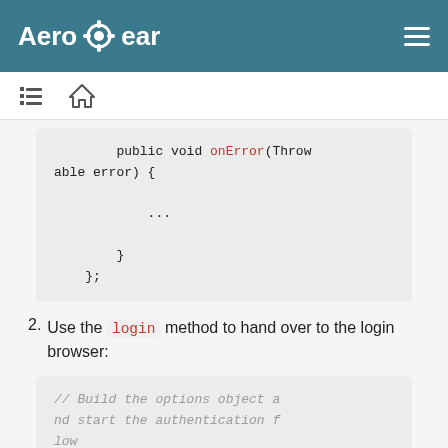AeroGear
[Figure (screenshot): Navigation bar with list and home icons]
public void onError(Throwable error) {
        ...
    }
};
2. Use the login method to hand over to the login browser:
// Build the options object and start the authentication flow
DefaultAuthenticateOptions op tions = DefaultAuthentic...